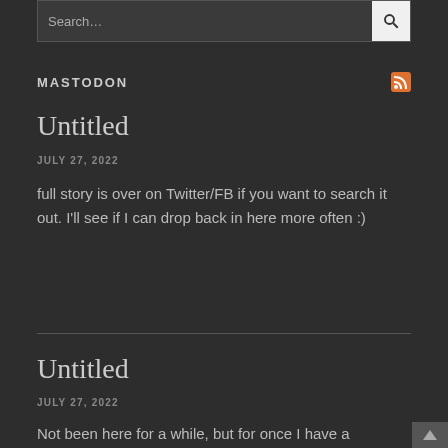Search...
MASTODON
Untitled
JULY 27, 2022
full story is over on Twitter/FB if you want to search it out. I'll see if I can drop back in here more often :)
Untitled
JULY 27, 2022
Not been here for a while, but for once I have a